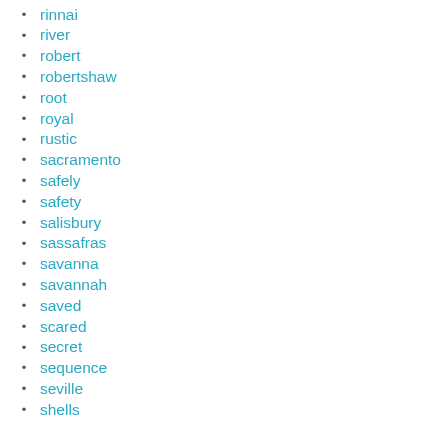rinnai
river
robert
robertshaw
root
royal
rustic
sacramento
safely
safety
salisbury
sassafras
savanna
savannah
saved
scared
secret
sequence
seville
shells